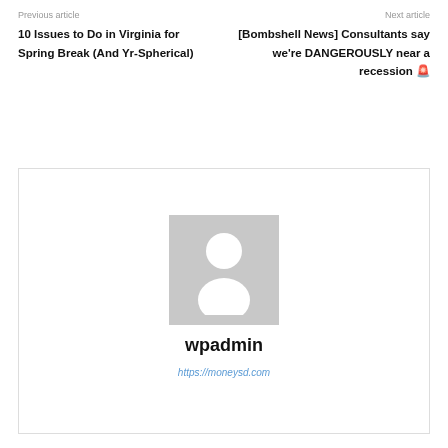Previous article
Next article
10 Issues to Do in Virginia for Spring Break (And Yr-Spherical)
[Bombshell News] Consultants say we're DANGEROUSLY near a recession 🚨
[Figure (illustration): Default user avatar placeholder: grey square background with white silhouette of a person (head circle and shoulders shape)]
wpadmin
https://moneysd.com